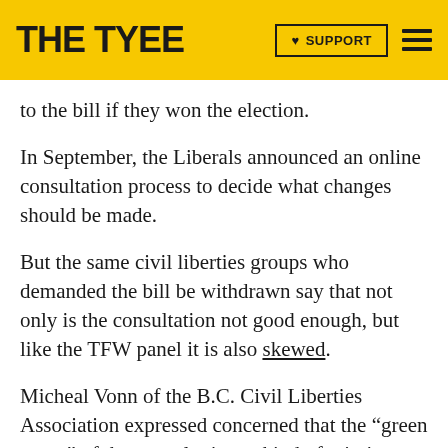THE TYEE | SUPPORT
to the bill if they won the election.
In September, the Liberals announced an online consultation process to decide what changes should be made.
But the same civil liberties groups who demanded the bill be withdrawn say that not only is the consultation not good enough, but like the TFW panel it is also skewed.
Micheal Vonn of the B.C. Civil Liberties Association expressed concerned that the “green paper” of the consultation, a kind of mission statement to guide discussion, was written as a “PR exercise.”